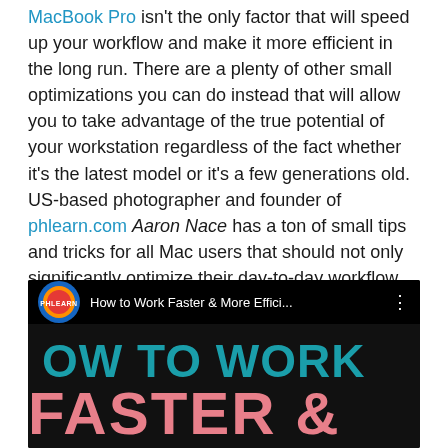MacBook Pro isn't the only factor that will speed up your workflow and make it more efficient in the long run. There are a plenty of other small optimizations you can do instead that will allow you to take advantage of the true potential of your workstation regardless of the fact whether it's the latest model or it's a few generations old. US-based photographer and founder of phlearn.com Aaron Nace has a ton of small tips and tricks for all Mac users that should not only significantly optimize their day-to-day workflow, but also turn the hours spend in front of the computer screen into way more pleasant, productive, and enjoyable experience.
[Figure (screenshot): YouTube video thumbnail for PHLEARN channel showing 'How to Work Faster & More Effici...' with dark background and large teal and pink text reading 'OW TO WORK FASTER &']